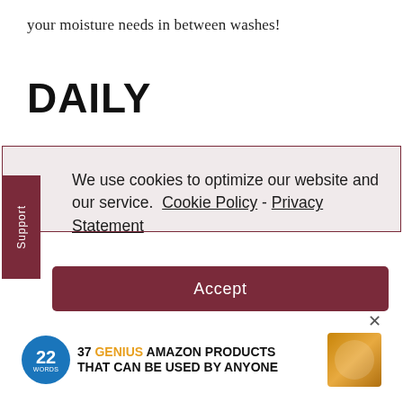your moisture needs in between washes!
DAILY
[Figure (screenshot): Cookie consent banner with dark red/maroon border on light gray background. Contains a vertical 'Support' tab on the left side in maroon, cookie policy text with links to 'Cookie Policy' and 'Privacy Statement', and a maroon 'Accept' button.]
[Figure (infographic): Advertisement banner: '22 WORDS - 37 GENIUS AMAZON PRODUCTS THAT CAN BE USED BY ANYONE' with product image of body butter on the right.]